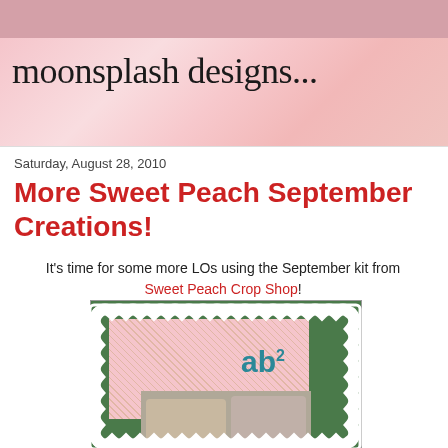moonsplash designs...
Saturday, August 28, 2010
More Sweet Peach September Creations!
It's time for some more LOs using the September kit from Sweet Peach Crop Shop!
[Figure (photo): Scrapbook layout with scalloped white frame, pink floral patterned paper, teal 'ab2' letters, and a photo of two people]